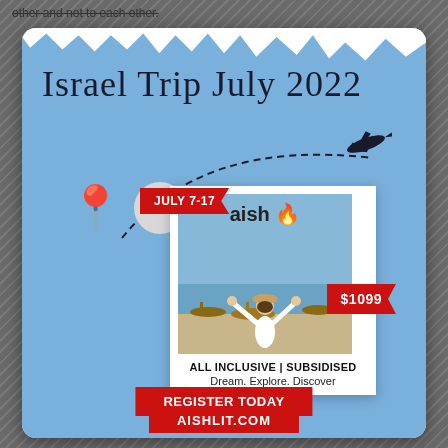other and not to each other.
[Figure (infographic): Israel Trip July 2022 promotional flyer with blue background, polaroid-style photo with aish lit logo, woman with arms raised on beach, location pin, airplane, JULY 7-17 ribbon badge, $1099 price badge, ALL INCLUSIVE | SUBSIDISED text, Dream. Explore. Discover tagline, REGISTER TODAY button, AISHLIT.COM URL]
Israel Trip July 2022
JULY 7-17
$1099
ALL INCLUSIVE | SUBSIDISED
Dream. Explore. Discover
REGISTER TODAY
AISHLIT.COM